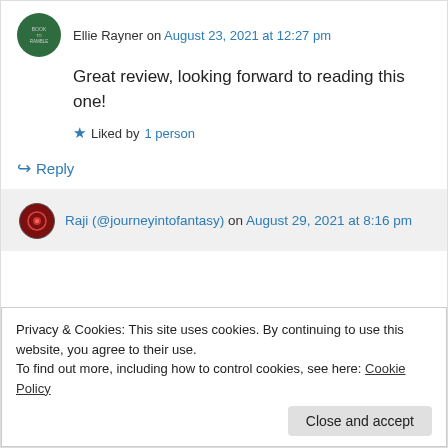Ellie Rayner on August 23, 2021 at 12:27 pm
Great review, looking forward to reading this one!
★ Liked by 1 person
↪ Reply
Raji (@journeyintofantasy) on August 29, 2021 at 8:16 pm
Privacy & Cookies: This site uses cookies. By continuing to use this website, you agree to their use.
To find out more, including how to control cookies, see here: Cookie Policy
Close and accept